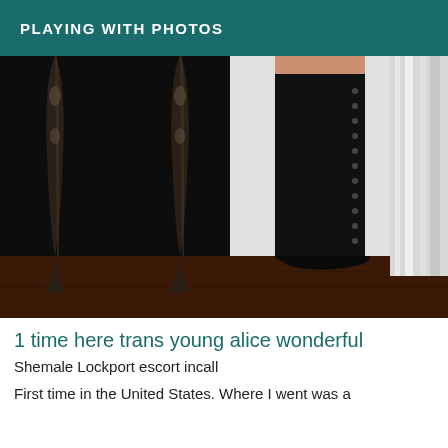PLAYING WITH PHOTOS
[Figure (photo): A dark artistic photograph showing ornate metallic table legs on a dark background with a person wearing tall black lace-up over-the-knee boots standing on a dark hardwood floor near a white curtain and baseboard.]
1 time here trans young alice wonderful
Shemale Lockport escort incall
First time in the United States. Where I went was a